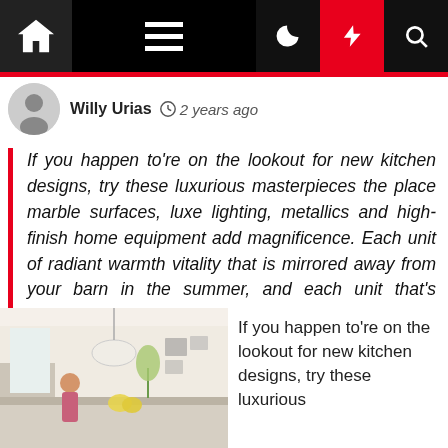[Figure (other): Website navigation bar with home icon, hamburger menu, moon icon, lightning bolt (red), and search icon on black background]
Willy Urias  2 years ago
If you happen to're on the lookout for new kitchen designs, try these luxurious masterpieces the place marble surfaces, luxe lighting, metallics and high-finish home equipment add magnificence. Each unit of radiant warmth vitality that is mirrored away from your barn in the summer, and each unit that's reflected back [...]
[Figure (photo): Interior photo of a bright white kitchen with a person at the counter, pendant light, and yellow flowers on the island]
If you happen to're on the lookout for new kitchen designs, try these luxurious